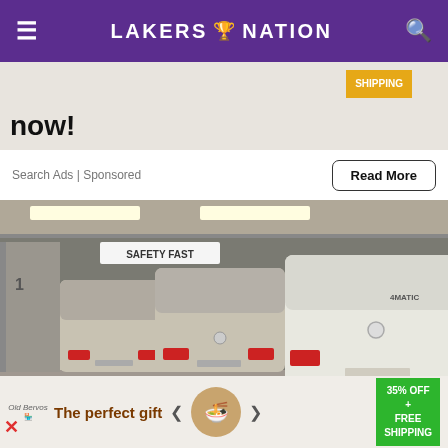LAKERS 🏆 NATION
[Figure (screenshot): Advertisement banner with partial text 'now!' and a SHIPPING badge on the right side, top banner area]
Search Ads | Sponsored
Read More
[Figure (photo): Parking garage or car carrier showing multiple white and silver Mercedes-Benz GLK SUVs from the rear, secured with blue straps. Sign reads SAFETY FAST in background.]
× (close button)
[Figure (screenshot): Bottom advertisement banner: 'The perfect gift' text with food image, navigation arrows, 35% OFF + FREE SHIPPING badge in green]